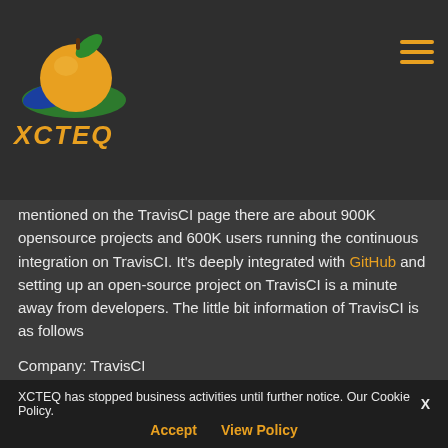[Figure (logo): XCTEQ logo with orange apple/peach fruit with green and blue leaf, and orange italic XCTEQ text below]
mentioned on the TravisCI page there are about 900K opensource projects and 600K users running the continuous integration on TravisCI. It's deeply integrated with GitHub and setting up an open-source project on TravisCI is a minute away from developers. The little bit information of TravisCI is as follows
Company: TravisCI
Founded: 2011
Headquarters: Berlin
Description: Hosted Continuous Integration Platform
Founders: Konstantin Haase, Mathias Meyer, Fritz
XCTEQ has stopped business activities until further notice. Our Cookie Policy. Accept View Policy